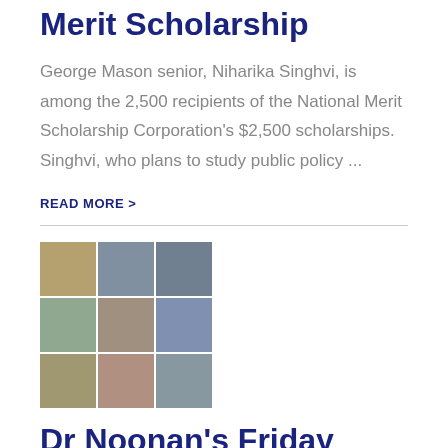Merit Scholarship
George Mason senior, Niharika Singhvi, is among the 2,500 recipients of the National Merit Scholarship Corporation's $2,500 scholarships. Singhvi, who plans to study public policy ...
READ MORE >
[Figure (photo): Grid of 9 photos showing students holding signs, related to COVID-19 response]
Dr Noonan's Friday COVID-19 Response Update